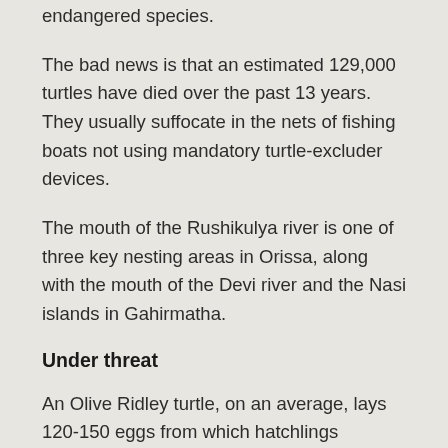endangered species.
The bad news is that an estimated 129,000 turtles have died over the past 13 years. They usually suffocate in the nets of fishing boats not using mandatory turtle-excluder devices.
The mouth of the Rushikulya river is one of three key nesting areas in Orissa, along with the mouth of the Devi river and the Nasi islands in Gahirmatha.
Under threat
An Olive Ridley turtle, on an average, lays 120-150 eggs from which hatchlings emerge after about 45-50 days.
However, these eggs are at risk from predators such as dogs, jackals, wild boar, hyenas, crows, eagles and gulls. Eggs are also washed away due to the erosion